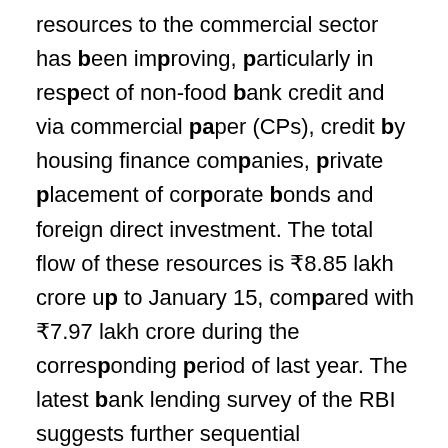resources to the commercial sector has been improving, particularly in respect of non-food bank credit and via commercial paper (CPs), credit by housing finance companies, private placement of corporate bonds and foreign direct investment. The total flow of these resources is ₹8.85 lakh crore up to January 15, compared with ₹7.97 lakh crore during the corresponding period of last year. The latest bank lending survey of the RBI suggests further sequential improvement in sentiment on loan demand across all sectors right up to Q2:2021-22. Taking these factors into consideration, real GDP growth is projected at 10.5 per cent in 2021-22 – in the range of 26.2 to 8.3 per cent in H1 and 6.0 per cent in Q3.